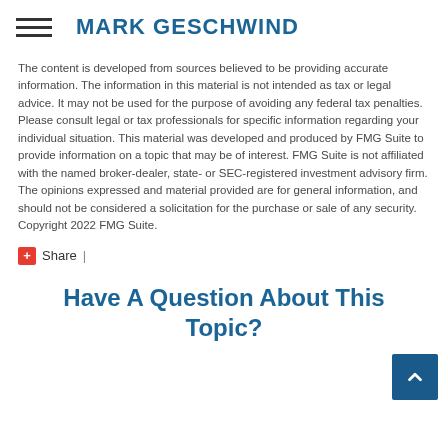MARK GESCHWIND
The content is developed from sources believed to be providing accurate information. The information in this material is not intended as tax or legal advice. It may not be used for the purpose of avoiding any federal tax penalties. Please consult legal or tax professionals for specific information regarding your individual situation. This material was developed and produced by FMG Suite to provide information on a topic that may be of interest. FMG Suite is not affiliated with the named broker-dealer, state- or SEC-registered investment advisory firm. The opinions expressed and material provided are for general information, and should not be considered a solicitation for the purchase or sale of any security. Copyright 2022 FMG Suite.
Share |
Have A Question About This Topic?